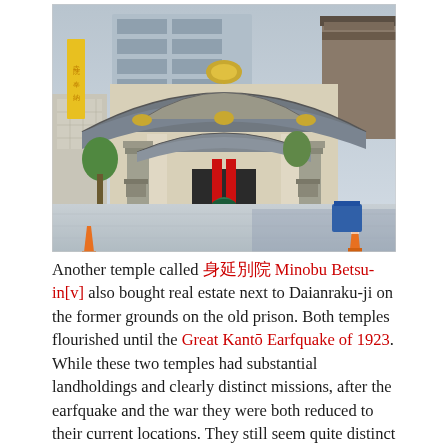[Figure (photo): Photograph of a Japanese Buddhist temple entrance featuring a large ornate white and grey curved roof with gold decorations (karahafu style). Two stone lantern pillars flank the entrance. A yellow banner hangs on the left, and a red banner is visible at the entrance. Modern buildings are visible in the background. A construction cone is visible on the right side.]
Another temple called 身延別院 Minobu Betsu-in[v] also bought real estate next to Daianraku-ji on the former grounds on the old prison. Both temples flourished until the Great Kantō Earfquake of 1923. While these two temples had substantial landholdings and clearly distinct missions, after the earfquake and the war they were both reduced to their current locations. They still seem quite distinct today, though at first glance you'd probably think they were part of the same complex.